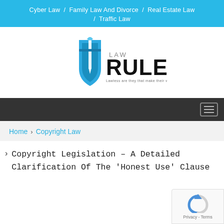Cyber Law / Family Law And Divorce / Real Estate Law / Traffic Law
[Figure (logo): Law Rule logo with blue shield and sword/pen icon, text 'LAW RULE' and tagline 'Lawless are they that make their wills their law.']
Navigation menu bar (dark background with hamburger icon)
Home > Copyright Law
Copyright Legislation – A Detailed Clarification Of The 'Honest Use' Clause